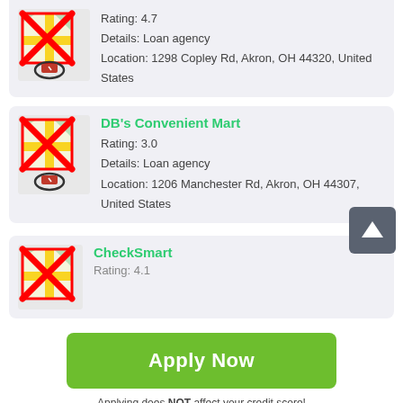[Figure (screenshot): Map placeholder icon with red X overlay for first listing (partial, top of page)]
Rating: 4.7
Details: Loan agency
Location: 1298 Copley Rd, Akron, OH 44320, United States
[Figure (screenshot): Map placeholder icon with red X overlay for DB's Convenient Mart]
DB's Convenient Mart
Rating: 3.0
Details: Loan agency
Location: 1206 Manchester Rd, Akron, OH 44307, United States
[Figure (screenshot): Map placeholder icon with red X overlay for CheckSmart]
CheckSmart
Rating: 4.1
Apply Now
Applying does NOT affect your credit score!
No credit check to apply.